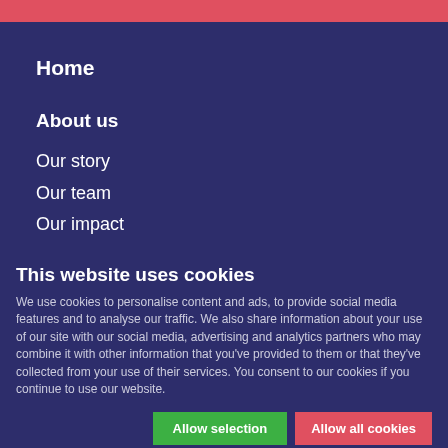Home
About us
Our story
Our team
Our impact
This website uses cookies
We use cookies to personalise content and ads, to provide social media features and to analyse our traffic. We also share information about your use of our site with our social media, advertising and analytics partners who may combine it with other information that you've provided to them or that they've collected from your use of their services. You consent to our cookies if you continue to use our website.
Allow selection | Allow all cookies
Necessary | Preferences | Statistics | Marketing | Show details